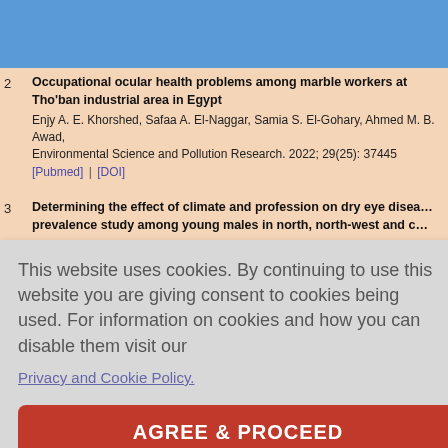2. Occupational ocular health problems among marble workers at Tho'ban industrial area in Egypt
Enjy A. E. Khorshed, Safaa A. El-Naggar, Samia S. El-Gohary, Ahmed M. B. Awad,...
Environmental Science and Pollution Research. 2022; 29(25): 37445
[Pubmed] | [DOI]
3. Determining the effect of climate and profession on dry eye disease: a prevalence study among young males in north, north-west and c...
P.K. Chaturvedi, Jaya Kaushik, Vijay Mathur, Pradeep Kumar, Neha Chauhan
Medical Journal Armed Forces India. 2022;
[Pubmed] | [DOI]
This website uses cookies. By continuing to use this website you are giving consent to cookies being used. For information on cookies and how you can disable them visit our
Privacy and Cookie Policy.
AGREE & PROCEED
taract Surg
r MANUAL
natic review
analysis
MuhammadAli Tariq, Hamza Amin, Bilal Ahmed, Uzair Ali, Ashar Mohiuddin